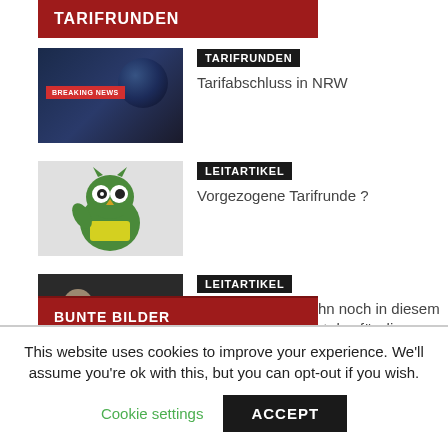TARIFRUNDEN
[Figure (screenshot): Thumbnail image with dark blue background showing a globe and breaking news banner in red reading 'BREAKING NEWS']
TARIFRUNDEN
Tarifabschluss in NRW
[Figure (illustration): Cartoon owl character in green and yellow, holding something, on light background]
LEITARTIKEL
Vorgezogene Tarifrunde ?
[Figure (photo): Dark wallet with coins on dark background]
LEITARTIKEL
12 Euro Mindestlohn noch in diesem Jahr- Was bedeutet das für die Sicherheitsbranche?
BUNTE BILDER
This website uses cookies to improve your experience. We'll assume you're ok with this, but you can opt-out if you wish.
Cookie settings
ACCEPT